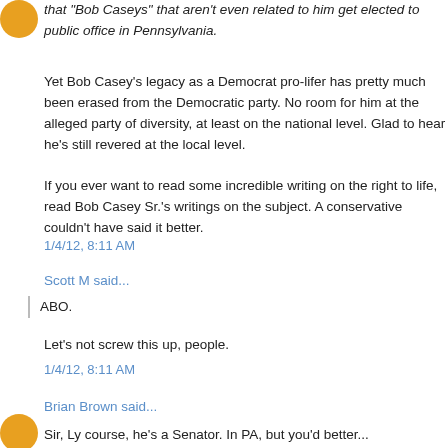that "Bob Caseys" that aren't even related to him get elected to public office in Pennsylvania.
Yet Bob Casey's legacy as a Democrat pro-lifer has pretty much been erased from the Democratic party. No room for him at the alleged party of diversity, at least on the national level. Glad to hear he's still revered at the local level.
If you ever want to read some incredible writing on the right to life, read Bob Casey Sr.'s writings on the subject. A conservative couldn't have said it better.
1/4/12, 8:11 AM
Scott M said...
ABO.
Let's not screw this up, people.
1/4/12, 8:11 AM
Brian Brown said...
Sir, Ly course, he's a Senator. In PA, but you'd better...